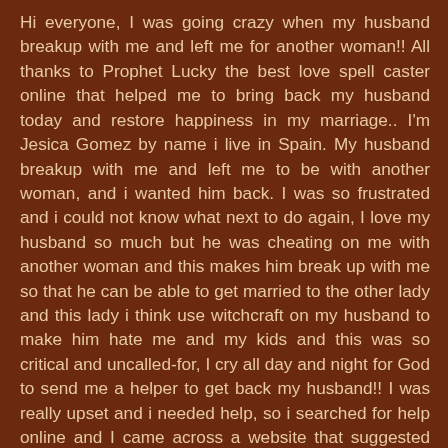Hi everyone, I was going crazy when my husband breakup with me and left me for another woman!! All thanks to Prophet Lucky the best love spell caster online that helped me to bring back my husband today and restore happiness in my marriage.. I'm Jesica Gomez by name i live in Spain. My husband breakup with me and left me to be with another woman, and i wanted him back. I was so frustrated and i could not know what next to do again, I love my husband so much but he was cheating on me with another woman and this makes him break up with me so that he can be able to get married to the other lady and this lady i think use witchcraft on my husband to make him hate me and my kids and this was so critical and uncalled-for, I cry all day and night for God to send me a helper to get back my husband!! I was really upset and i needed help, so i searched for help online and I came across a website that suggested that Prophet Lucky can help get ex back fast. So, I felt I should give him a try. I contacted him and he told me what to do and i did it then he did a spell for me. 28 hours later, my husband really called me and told me that he miss me so much, Oh My God! i was so happy, and today i am happy with my man again and we are joyfully